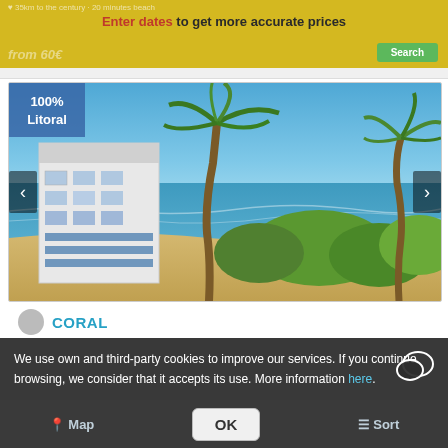Enter dates to get more accurate prices
[Figure (photo): Beach/coastal view with palm trees, blue sea, sandy beach, white building with blue accents, green trees in foreground. Carousel image with left/right navigation arrows and '100% Litoral' badge overlay.]
CORAL
We use own and third-party cookies to improve our services. If you continue browsing, we consider that it accepts its use. More information here.
Map  |  Filters  |  Sort